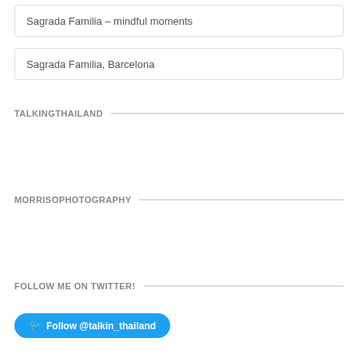Sagrada Familia – mindful moments
Sagrada Familia, Barcelona
TALKINGTHAILAND
MORRISOPHOTOGRAPHY
FOLLOW ME ON TWITTER!
Follow @talkin_thailand